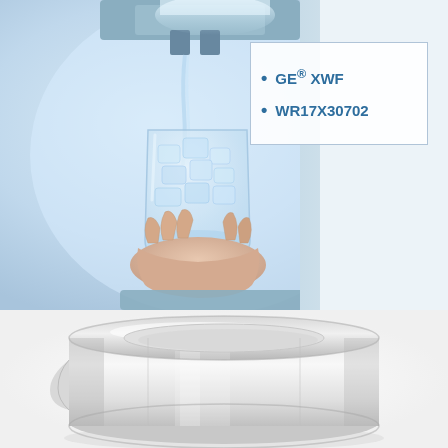[Figure (photo): Photo of a hand holding a glass being filled with ice and water from a refrigerator door dispenser, with a stainless steel and white refrigerator in the background. A white label box on the right side shows bullet points: GE® XWF and WR17X30702.]
[Figure (photo): Product photo of a white cylindrical refrigerator water filter ring/collar component, viewed from a slight angle showing the circular band shape with a notch cut-out.]